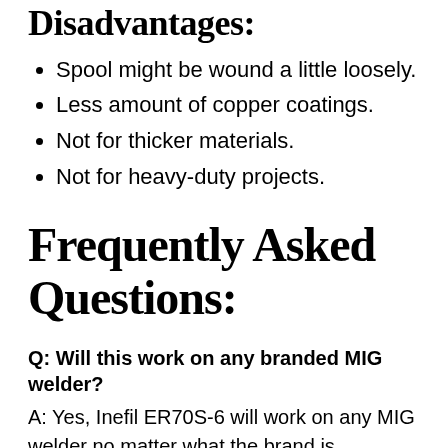Disadvantages:
Spool might be wound a little loosely.
Less amount of copper coatings.
Not for thicker materials.
Not for heavy-duty projects.
Frequently Asked Questions:
Q: Will this work on any branded MIG welder?
A: Yes, Inefil ER70S-6 will work on any MIG welder no matter what the brand is.
Q: Where has it been manufactured?